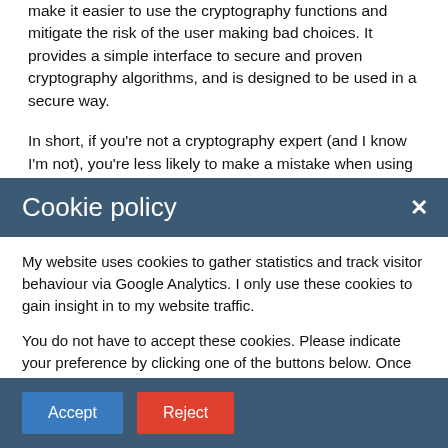make it easier to use the cryptography functions and mitigate the risk of the user making bad choices. It provides a simple interface to secure and proven cryptography algorithms, and is designed to be used in a secure way.
In short, if you're not a cryptography expert (and I know I'm not), you're less likely to make a mistake when using Sodium.
Cookie policy
My website uses cookies to gather statistics and track visitor behaviour via Google Analytics. I only use these cookies to gain insight in to my website traffic.
You do not have to accept these cookies. Please indicate your preference by clicking one of the buttons below. Once your preference has been saved, you will not see this message again.
Accept
Reject